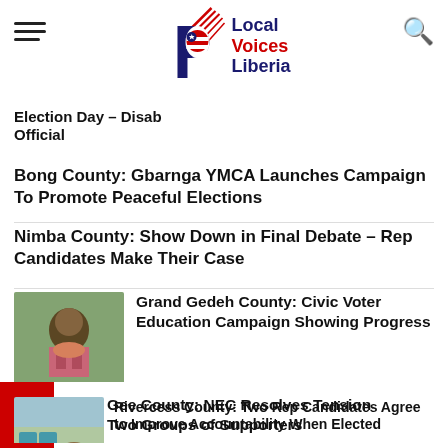Local Voices Liberia
Election Day – Disab Official
Bong County: Gbarnga YMCA Launches Campaign To Promote Peaceful Elections
Nimba County: Show Down in Final Debate – Rep Candidates Make Their Case
[Figure (photo): Woman seated outdoors, civic voter education campaign photo]
Grand Gedeh County: Civic Voter Education Campaign Showing Progress
[Figure (photo): People in a classroom/meeting room, Rivercess County story]
Rivercess County: Two Rep Candidates Agree to Improve Accountability When Elected
River Gee County: NEC Resolves Tension Between Two Groups of Supporters